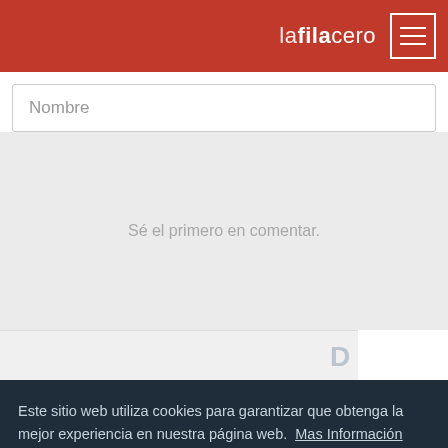lafilacero
Nombre
Sé el primero en comentar.
[Figure (logo): DISQUS logo in grey/dark text]
Este sitio web utiliza cookies para garantizar que obtenga la mejor experiencia en nuestra página web.  Mas Información
Aceptar!